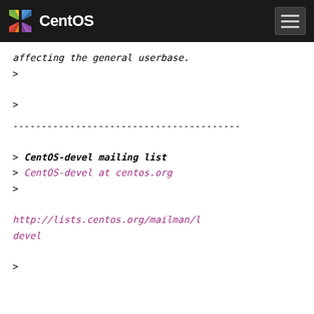CentOS
affecting the general userbase.
>
>
----------------------------------------
> CentOS-devel mailing list
> CentOS-devel at centos.org
>
http://lists.centos.org/mailman/l
devel
>